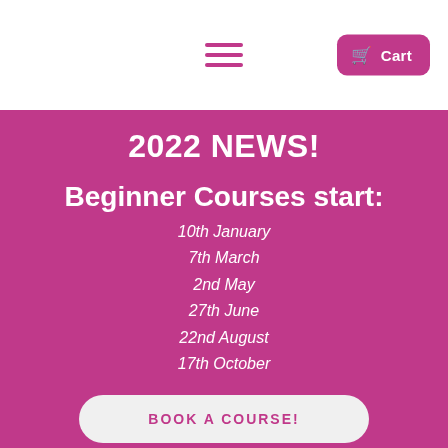≡  Cart
2022 NEWS!
Beginner Courses start:
10th January
7th March
2nd May
27th June
22nd August
17th October
BOOK A COURSE!